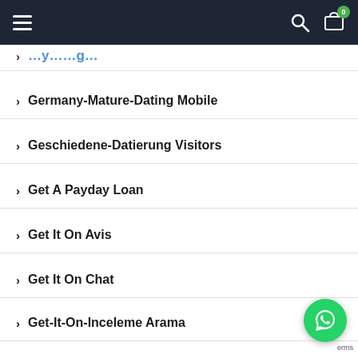Navigation bar with hamburger menu, search icon, and cart icon with badge 0
Germany-Mature-Dating Mobile
Geschiedene-Datierung Visitors
Get A Payday Loan
Get It On Avis
Get It On Chat
Get-It-On-Inceleme Arama
Get-It-On-Overzicht Online Dating
Getiton-Com-Recenze Seznamka